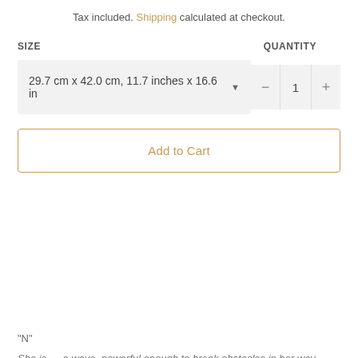Tax included. Shipping calculated at checkout.
SIZE
QUANTITY
29.7 cm x 42.0 cm, 11.7 inches x 16.6 in ▼
— 1 +
Add to Cart
"N"
She is … a wave, powerful enough to break obstacles in her way, tender enough to carry you to shore